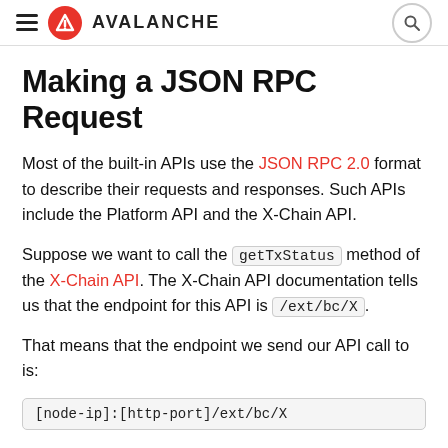≡ AVALANCHE [search]
Making a JSON RPC Request
Most of the built-in APIs use the JSON RPC 2.0 format to describe their requests and responses. Such APIs include the Platform API and the X-Chain API.
Suppose we want to call the getTxStatus method of the X-Chain API. The X-Chain API documentation tells us that the endpoint for this API is /ext/bc/X.
That means that the endpoint we send our API call to is:
[node-ip]:[http-port]/ext/bc/X